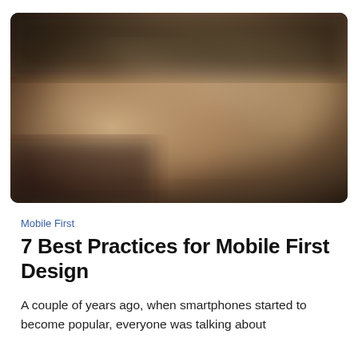[Figure (photo): A blurred abstract photograph with warm brown, tan, and dark tones — appears to show a close-up of a textured surface or material with soft light gradients.]
Mobile First
7 Best Practices for Mobile First Design
A couple of years ago, when smartphones started to become popular, everyone was talking about